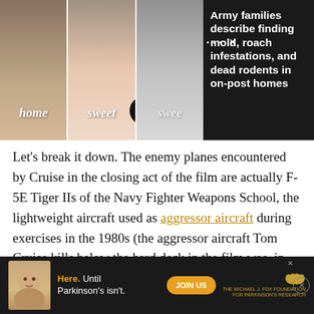[Figure (photo): Photo strip showing three panels with 'home sweet home' text overlaid, with arrow navigation button]
Army families describe finding mold, roach infestations, and dead rodents in on-post homes
Let's break it down. The enemy planes encountered by Cruise in the closing act of the film are actually F-5E Tiger IIs of the Navy Fighter Weapons School, the lightweight aircraft used as aggressor aircraft during exercises in the 1980s (the aggressor aircraft Tom Cruise kills below the hard deck in the film was, in fact, a Douglas A-4 Skyhawk).
[Figure (photo): Advertisement banner for Michael J. Fox Foundation for Parkinson's Research with text 'Here. Until Parkinson's isn't.' and JOIN US button]